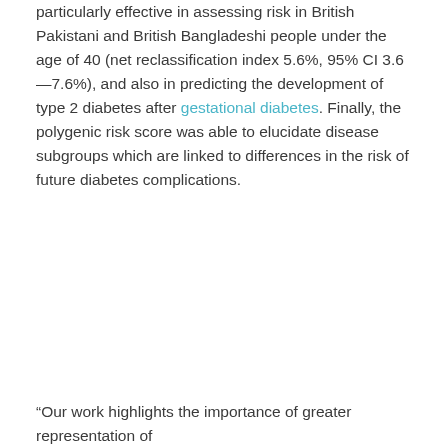particularly effective in assessing risk in British Pakistani and British Bangladeshi people under the age of 40 (net reclassification index 5.6%, 95% CI 3.6—7.6%), and also in predicting the development of type 2 diabetes after gestational diabetes. Finally, the polygenic risk score was able to elucidate disease subgroups which are linked to differences in the risk of future diabetes complications.
“Our work highlights the importance of greater representation of